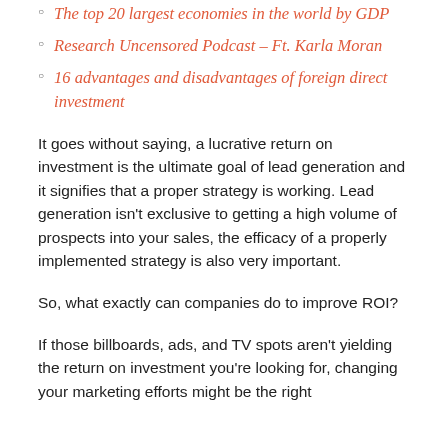The top 20 largest economies in the world by GDP
Research Uncensored Podcast – Ft. Karla Moran
16 advantages and disadvantages of foreign direct investment
It goes without saying, a lucrative return on investment is the ultimate goal of lead generation and it signifies that a proper strategy is working. Lead generation isn't exclusive to getting a high volume of prospects into your sales, the efficacy of a properly implemented strategy is also very important.
So, what exactly can companies do to improve ROI?
If those billboards, ads, and TV spots aren't yielding the return on investment you're looking for, changing your marketing efforts might be the right